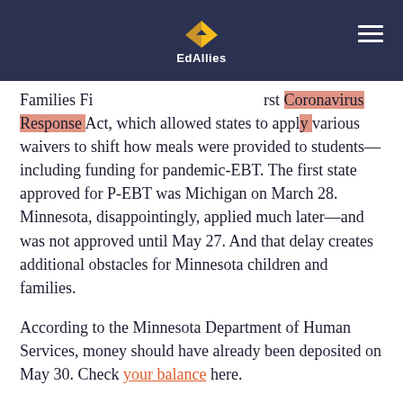EdAllies
Families Fi[rst Coronavirus Response] Act, which allowed states to appl[y] various waivers to shift how meals were provided to students—including funding for pandemic-EBT. The first state approved for P-EBT was Michigan on March 28. Minnesota, disappointingly, applied much later—and was not approved until May 27. And that delay creates additional obstacles for Minnesota children and families.
According to the Minnesota Department of Human Services, money should have already been deposited on May 30. Check your balance here.
Pretty simple, right? All set? Hang on … More families are eligible than those currently [enrolled in SNAP after]...